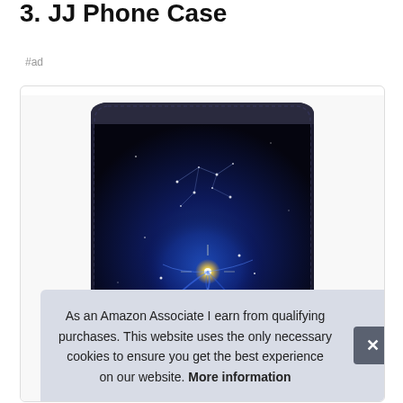3. JJ Phone Case
#ad
[Figure (photo): A JJ phone case with a galaxy/space nebula design featuring a dark leather wallet-style case with constellation stars and blue cosmic nebula imagery on the cover.]
As an Amazon Associate I earn from qualifying purchases. This website uses the only necessary cookies to ensure you get the best experience on our website. More information